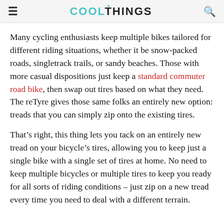COOLTHINGS
Many cycling enthusiasts keep multiple bikes tailored for different riding situations, whether it be snow-packed roads, singletrack trails, or sandy beaches. Those with more casual dispositions just keep a standard commuter road bike, then swap out tires based on what they need. The reTyre gives those same folks an entirely new option: treads that you can simply zip onto the existing tires.
That’s right, this thing lets you tack on an entirely new tread on your bicycle’s tires, allowing you to keep just a single bike with a single set of tires at home. No need to keep multiple bicycles or multiple tires to keep you ready for all sorts of riding conditions – just zip on a new tread every time you need to deal with a different terrain.